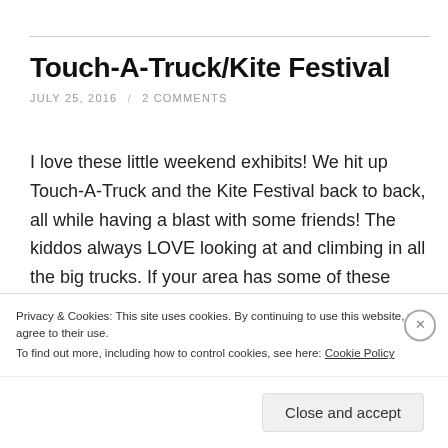Touch-A-Truck/Kite Festival
JULY 25, 2016 / 2 COMMENTS
I love these little weekend exhibits! We hit up Touch-A-Truck and the Kite Festival back to back, all while having a blast with some friends! The kiddos always LOVE looking at and climbing in all the big trucks. If your area has some of these events planned, I highly recommend them! They're free, you walk around and get
Privacy & Cookies: This site uses cookies. By continuing to use this website, you agree to their use.
To find out more, including how to control cookies, see here: Cookie Policy
Close and accept